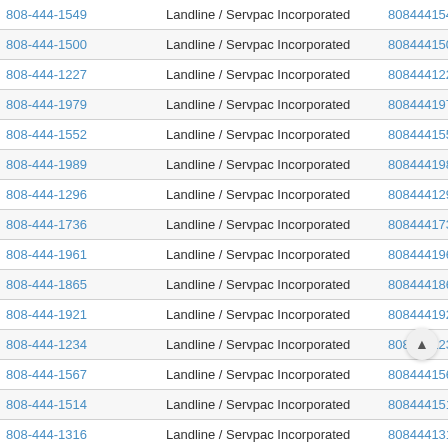| Phone | Type | Number | Action |
| --- | --- | --- | --- |
| 808-444-1549 | Landline / Servpac Incorporated | 8084441549 | Vie |
| 808-444-1500 | Landline / Servpac Incorporated | 8084441500 | Vie |
| 808-444-1227 | Landline / Servpac Incorporated | 8084441227 | Vie |
| 808-444-1979 | Landline / Servpac Incorporated | 8084441979 | Vie |
| 808-444-1552 | Landline / Servpac Incorporated | 8084441552 | Vie |
| 808-444-1989 | Landline / Servpac Incorporated | 8084441989 | Vie |
| 808-444-1296 | Landline / Servpac Incorporated | 8084441296 | Vie |
| 808-444-1736 | Landline / Servpac Incorporated | 8084441736 | Vie |
| 808-444-1961 | Landline / Servpac Incorporated | 8084441961 | Vie |
| 808-444-1865 | Landline / Servpac Incorporated | 8084441865 | Vie |
| 808-444-1921 | Landline / Servpac Incorporated | 8084441921 | Vie |
| 808-444-1234 | Landline / Servpac Incorporated | 8084441234 | Vie |
| 808-444-1567 | Landline / Servpac Incorporated | 8084441567 | Vie |
| 808-444-1514 | Landline / Servpac Incorporated | 8084441514 | Vie |
| 808-444-1316 | Landline / Servpac Incorporated | 8084441316 | Vie |
| 808-444-1299 | Landline / Servpac Incorporated | 8084441299 | Vie |
| 808-444-1145 | Landline / Servpac Incorporated | 8084441145 | Vie |
| 808-444-1428 | Landline / Servpac Incorporated | 8084441428 | Vie |